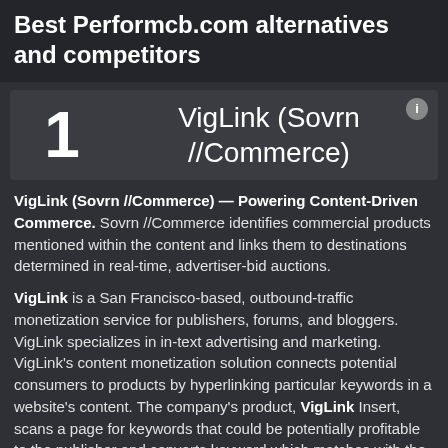Best Performcb.com alternatives and competitors
1  VigLink (Sovrn //Commerce)
VigLink (Sovrn //Commerce) — Powering Content-Driven Commerce. Sovrn //Commerce identifies commercial products mentioned within the content and links them to destinations determined in real-time, advertiser-bid auctions.
VigLink is a San Francisco-based, outbound-traffic monetization service for publishers, forums, and bloggers. VigLink specializes in in-text advertising and marketing. VigLink's content monetization solution connects potential consumers to products by hyperlinking particular keywords in a website's content. The company's product, VigLink Insert, scans a page for keywords that could be potentially profitable to the publisher and converts keyword which matches with the product from the merchant's affiliate program. The